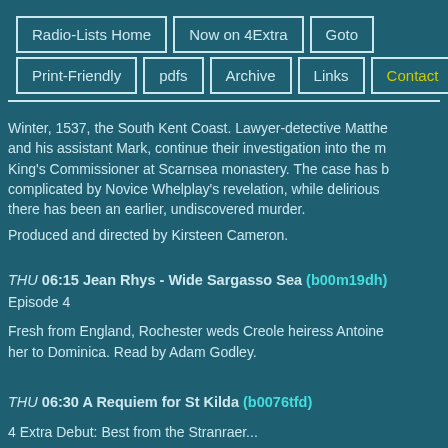Radio-Lists Home | Now on 4Extra | Goto | Print-Friendly | pdfs | Archive | Links | Contact
Winter, 1537, the South Kent Coast. Lawyer-detective Matthew and his assistant Mark, continue their investigation into the m King's Commissioner at Scarnsea monastery. The case has b complicated by Novice Whelplay's revelation, while delirious there has been an earlier, undiscovered murder.

Produced and directed by Kirsteen Cameron.
THU 06:15 Jean Rhys - Wide Sargasso Sea (b00m19dh) Episode 4
Fresh from England, Rochester weds Creole heiress Antoine her to Dominica. Read by Adam Godley.
THU 06:30 A Requiem for St Kilda (b0076tfd)
4 Extra Debut: Best from the Stranraer...